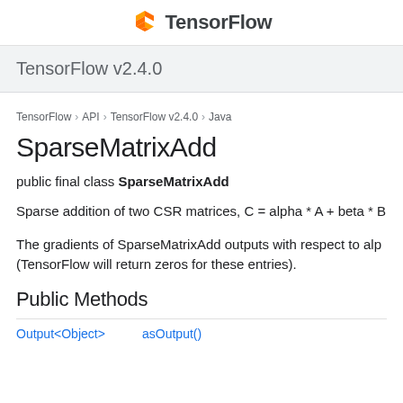TensorFlow
TensorFlow v2.4.0
TensorFlow > API > TensorFlow v2.4.0 > Java
SparseMatrixAdd
public final class SparseMatrixAdd
Sparse addition of two CSR matrices, C = alpha * A + beta * B
The gradients of SparseMatrixAdd outputs with respect to alpha and beta are not supported (TensorFlow will return zeros for these entries).
Public Methods
| Return type | Method |
| --- | --- |
| Output<Object> | asOutput() |